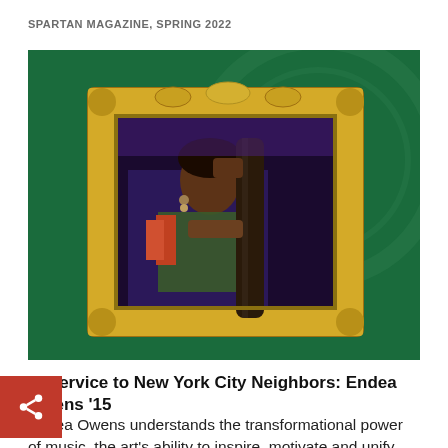SPARTAN MAGAZINE, SPRING 2022
[Figure (photo): A woman playing an upright bass, framed within an ornate gold baroque picture frame set against a deep green background with a faint circular design.]
In Service to New York City Neighbors: Endea Owens '15
Endea Owens understands the transformational power of music, the art's ability to inspire, motivate and unify.